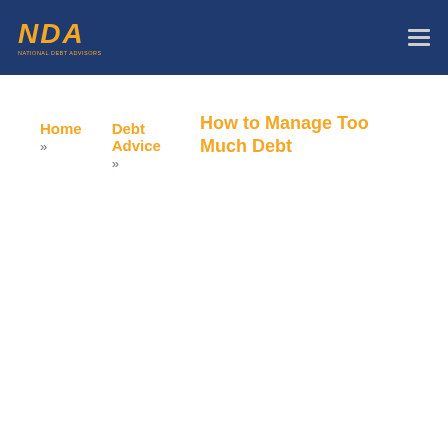NDA
Home » Debt Advice » How to Manage Too Much Debt